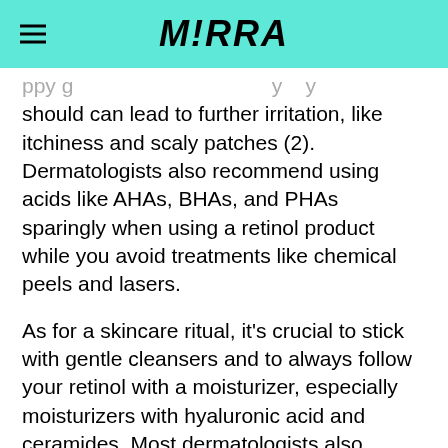M!RRA
should can lead to further irritation, like itchiness and scaly patches (2). Dermatologists also recommend using acids like AHAs, BHAs, and PHAs sparingly when using a retinol product while you avoid treatments like chemical peels and lasers.
As for a skincare ritual, it's crucial to stick with gentle cleansers and to always follow your retinol with a moisturizer, especially moisturizers with hyaluronic acid and ceramides. Most dermatologists also recommend easing into using retinol in your daily ritual by starting with application once a week, and working up to every other or every night, depending on how tolerant your skin is.
No matter what you should also mo...